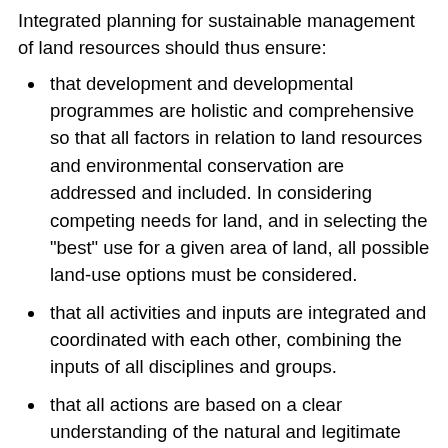Integrated planning for sustainable management of land resources should thus ensure:
that development and developmental programmes are holistic and comprehensive so that all factors in relation to land resources and environmental conservation are addressed and included. In considering competing needs for land, and in selecting the "best" use for a given area of land, all possible land-use options must be considered.
that all activities and inputs are integrated and coordinated with each other, combining the inputs of all disciplines and groups.
that all actions are based on a clear understanding of the natural and legitimate objectives and needs of individual land users to obtain maximum consensus.
that institutional structures are put in place to develop,